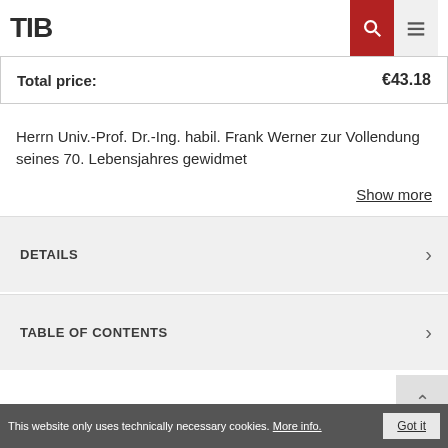TIB
| Total price: | €43.18 |
| --- | --- |
Herrn Univ.-Prof. Dr.-Ing. habil. Frank Werner zur Vollendung seines 70. Lebensjahres gewidmet
Show more
DETAILS
TABLE OF CONTENTS
This website only uses technically necessary cookies. More info. Got it